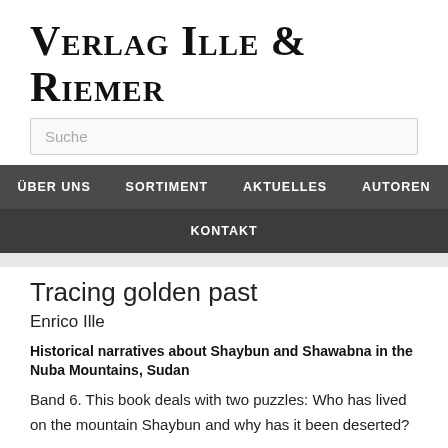Verlag Ille & Riemer
Suche
ÜBER UNS   SORTIMENT   AKTUELLES   AUTOREN   KONTAKT
Tracing golden past
Enrico Ille
Historical narratives about Shaybun and Shawabna in the Nuba Mountains, Sudan
Band 6. This book deals with two puzzles: Who has lived on the mountain Shaybun and why has it been deserted?